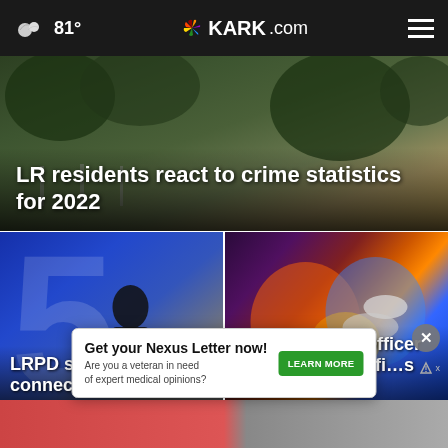81° KARK.com
[Figure (photo): Main headline story image showing outdoor scene. Overlay text: LR residents react to crime statistics for 2022]
LR residents react to crime statistics for 2022
[Figure (photo): Left card: person carrying bag in front of blue TV background. Headline: LRPD seeking man in connection wit...]
LRPD seeking man in connection wit
[Figure (photo): Right card: police lights blur. Headline: Sherwood PD: Officer dodges vehicle, fi...s]
Sherwood PD: Officer dodges vehicle, fi…s
Get your Nexus Letter now! Are you a veteran in need of expert medical opinions? LEARN MORE